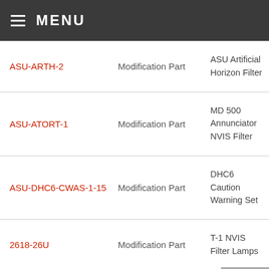MENU
| Part ID | Type | Description |
| --- | --- | --- |
| ASU-ARTH-2 | Modification Part | ASU Artificial Horizon Filter |
| ASU-ATORT-1 | Modification Part | MD 500 Annunciator NVIS Filter |
| ASU-DHC6-CWAS-1-15 | Modification Part | DHC6 Caution Warning Set |
| 2618-26U | Modification Part | T-1 NVIS Filter Lamps |
| 500-45255-011 | Modification Part | NVIS Filters |